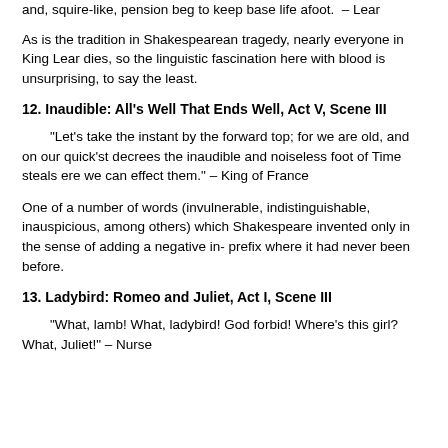and, squire-like, pension beg to keep base life afoot.  – Lear
As is the tradition in Shakespearean tragedy, nearly everyone in King Lear dies, so the linguistic fascination here with blood is unsurprising, to say the least.
12. Inaudible: All's Well That Ends Well, Act V, Scene III
“Let's take the instant by the forward top; for we are old, and on our quick'st decrees the inaudible and noiseless foot of Time steals ere we can effect them.” – King of France
One of a number of words (invulnerable, indistinguishable, inauspicious, among others) which Shakespeare invented only in the sense of adding a negative in- prefix where it had never been before.
13. Ladybird: Romeo and Juliet, Act I, Scene III
“What, lamb! What, ladybird! God forbid! Where's this girl? What, Juliet!” – Nurse